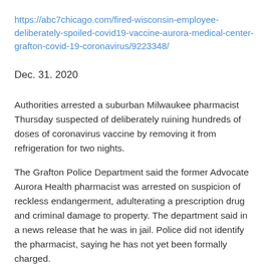https://abc7chicago.com/fired-wisconsin-employee-deliberately-spoiled-covid19-vaccine-aurora-medical-center-grafton-covid-19-coronavirus/9223348/
Dec. 31. 2020
Authorities arrested a suburban Milwaukee pharmacist Thursday suspected of deliberately ruining hundreds of doses of coronavirus vaccine by removing it from refrigeration for two nights.
The Grafton Police Department said the former Advocate Aurora Health pharmacist was arrested on suspicion of reckless endangerment, adulterating a prescription drug and criminal damage to property. The department said in a news release that he was in jail. Police did not identify the pharmacist, saying he has not yet been formally charged.